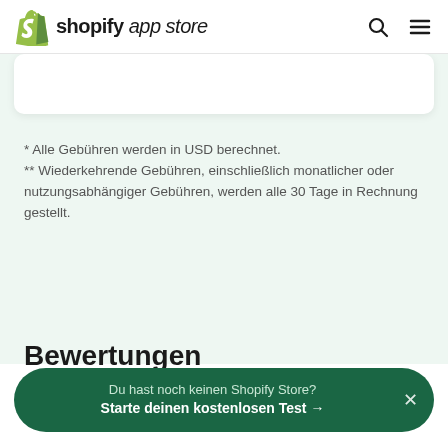shopify app store
* Alle Gebühren werden in USD berechnet.
** Wiederkehrende Gebühren, einschließlich monatlicher oder nutzungsabhängiger Gebühren, werden alle 30 Tage in Rechnung gestellt.
Bewertungen
Du hast noch keinen Shopify Store? Starte deinen kostenlosen Test →